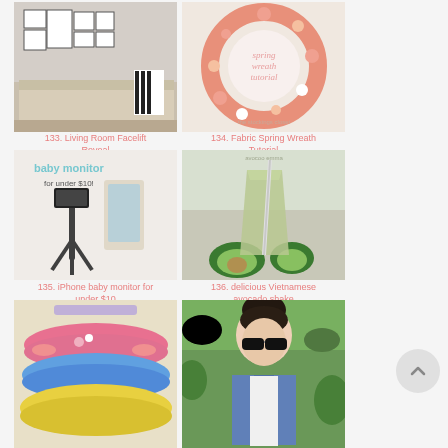[Figure (photo): Living room with sofa, gallery wall of black and white framed photos]
133. Living Room Facelift Reveal
[Figure (photo): Pink fabric spring wreath with flowers, text reads spring wreath tutorial]
134. Fabric Spring Wreath Tutorial
[Figure (photo): iPhone baby monitor setup with clip, text says baby monitor for under $10]
135. iPhone baby monitor for under $10
[Figure (photo): Green avocado shake smoothie in a glass with a straw and avocado halves]
136. delicious Vietnamese avocado shake
[Figure (photo): Colorful ruffled tutu skirt in pink, blue and yellow]
[Figure (photo): Woman with dark hair in bun wearing sunglasses and denim jacket outdoors]